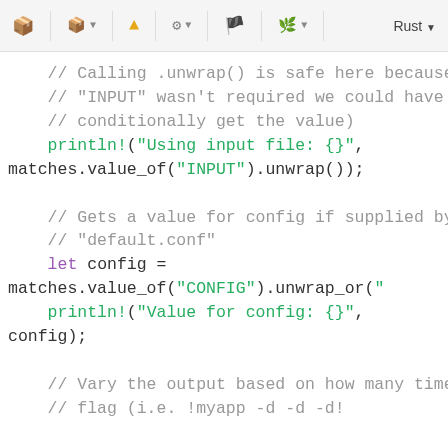Rust code editor toolbar
[Figure (screenshot): Code editor toolbar with icons for modules, warning, settings, flags, a leaf icon, and a Rust language selector]
// Calling .unwrap() is safe here because "INPUT" is required (if
    // "INPUT" wasn't required we could have used an 'if let' to
    // conditionally get the value)
    println!("Using input file: {}",
matches.value_of("INPUT").unwrap());

    // Gets a value for config if supplied by user, or defaults to
    // "default.conf"
    let config =
matches.value_of("CONFIG").unwrap_or("
    println!("Value for config: {}",
config);

    // Vary the output based on how many times the user used the "debug"
    // flag (i.e. 'myapp -d -d -d' or 'myapp -ddd')